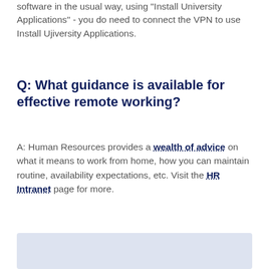software in the usual way, using "Install University Applications" - you do need to connect the VPN to use Install Ujiversity Applications.
Q: What guidance is available for effective remote working?
A: Human Resources provides a wealth of advice on what it means to work from home, how you can maintain routine, availability expectations, etc. Visit the HR Intranet page for more.
[Figure (other): Light blue/lavender box at bottom of page with a dark Feedback button overlay and partial italic bold text 'IT St...kit' visible]